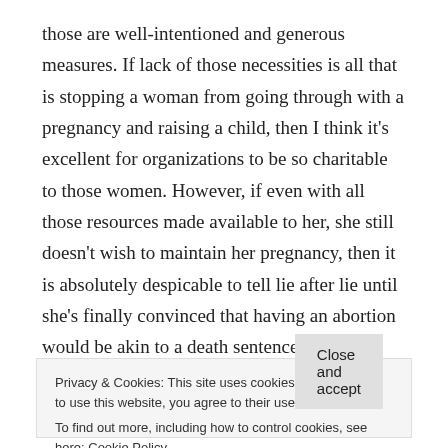those are well-intentioned and generous measures. If lack of those necessities is all that is stopping a woman from going through with a pregnancy and raising a child, then I think it's excellent for organizations to be so charitable to those women. However, if even with all those resources made available to her, she still doesn't wish to maintain her pregnancy, then it is absolutely despicable to tell lie after lie until she's finally convinced that having an abortion would be akin to a death sentence.
It seriously troubles me that such places are allowed to
Privacy & Cookies: This site uses cookies. By continuing to use this website, you agree to their use.
To find out more, including how to control cookies, see here: Cookie Policy
Close and accept